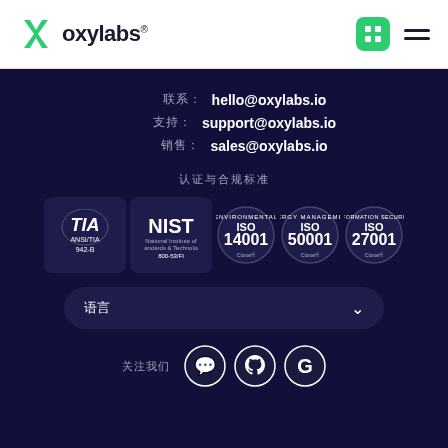[Figure (logo): Oxylabs logo with green X icon and text 'oxylabs' with registered trademark symbol]
[Figure (infographic): Header navigation icons: green grid icon and hamburger menu]
联系: hello@oxylabs.io
支持: support@oxylabs.io
销售: sales@oxylabs.io
认证与合规
[Figure (infographic): Certification badges: ANSI/TIA 942-B, NIST 800-53/FI, ISO 14001, ISO 50001, ISO 27001]
语言
[Figure (infographic): Social media icons: WeChat, GitHub, Glassdoor]